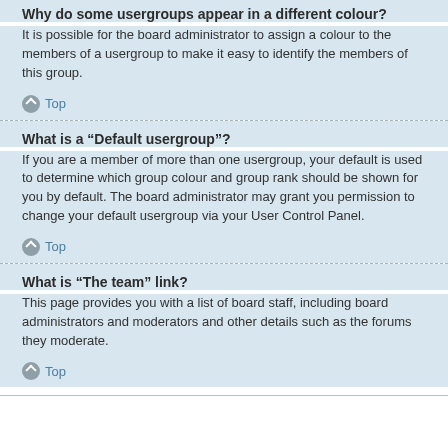Why do some usergroups appear in a different colour?
It is possible for the board administrator to assign a colour to the members of a usergroup to make it easy to identify the members of this group.
Top
What is a “Default usergroup”?
If you are a member of more than one usergroup, your default is used to determine which group colour and group rank should be shown for you by default. The board administrator may grant you permission to change your default usergroup via your User Control Panel.
Top
What is “The team” link?
This page provides you with a list of board staff, including board administrators and moderators and other details such as the forums they moderate.
Top